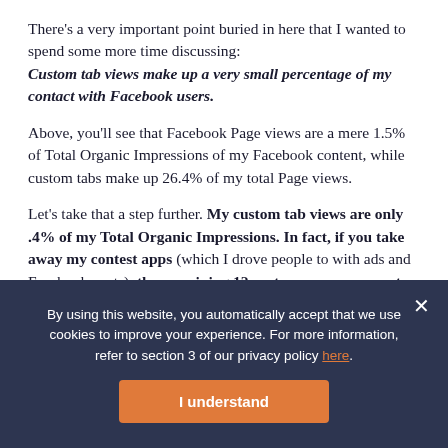There's a very important point buried in here that I wanted to spend some more time discussing: Custom tab views make up a very small percentage of my contact with Facebook users.
Above, you'll see that Facebook Page views are a mere 1.5% of Total Organic Impressions of my Facebook content, while custom tabs make up 26.4% of my total Page views.
Let's take that a step further. My custom tab views are only .4% of my Total Organic Impressions. In fact, if you take away my contest apps (which I drove people to with ads and Facebook posts), the remaining 12 custom apps represent only .2% of my
By using this website, you automatically accept that we use cookies to improve your experience. For more information, refer to section 3 of our privacy policy here.